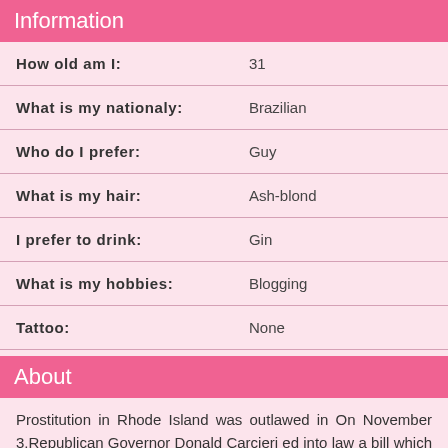Information
| Label | Value |
| --- | --- |
| How old am I: | 31 |
| What is my nationaly: | Brazilian |
| Who do I prefer: | Guy |
| What is my hair: | Ash-blond |
| I prefer to drink: | Gin |
| What is my hobbies: | Blogging |
| Tattoo: | None |
About
Prostitution in Rhode Island was outlawed in On November 3,Republican Governor Donald Carcieri ed into law a bill which makes the buying and selling of sexual services a crime. Prostitution was